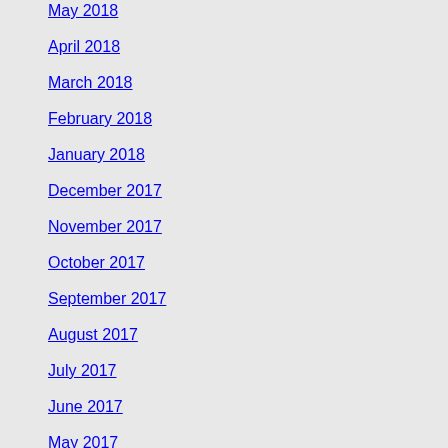May 2018
April 2018
March 2018
February 2018
January 2018
December 2017
November 2017
October 2017
September 2017
August 2017
July 2017
June 2017
May 2017